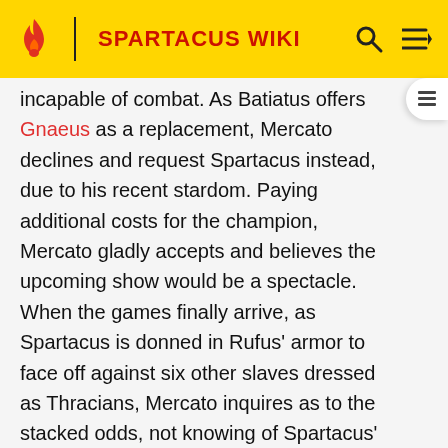SPARTACUS WIKI
incapable of combat. As Batiatus offers Gnaeus as a replacement, Mercato declines and request Spartacus instead, due to his recent stardom. Paying additional costs for the champion, Mercato gladly accepts and believes the upcoming show would be a spectacle. When the games finally arrive, as Spartacus is donned in Rufus' armor to face off against six other slaves dressed as Thracians, Mercato inquires as to the stacked odds, not knowing of Spartacus' request for the handicap. As Mercato watches Spartacus allow a spear to almost end his life, the Roman grows increasingly worrisome over whether or not the champion will survive the odds, and remarks to Batiatus if he realizes who had won this battle historically. Eventually, though, Spartacus manages to get the upper hand and slays all his competitors, much to the